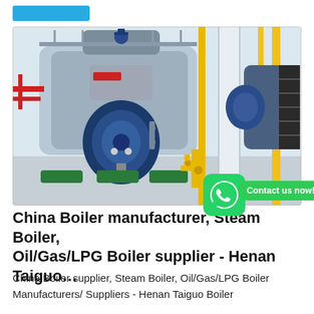[Figure (photo): Industrial boiler room showing large blue cylindrical steam boilers with yellow piping, valves, and blue burner units on the front. Multiple boilers visible with metal staircases and white walls in the background.]
China Boiler manufacturer, Steam Boiler, Oil/Gas/LPG Boiler supplier - Henan Taiguo…
China Boiler supplier, Steam Boiler, Oil/Gas/LPG Boiler Manufacturers/ Suppliers - Henan Taiguo Boiler